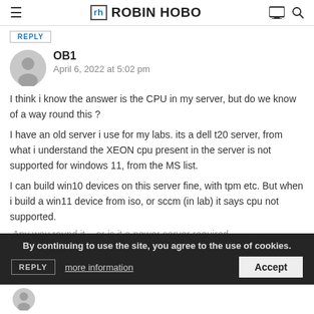ROBIN HOBO
REPLY
OB1
April 6, 2022 at 5:02 pm
I think i know the answer is the CPU in my server, but do we know of a way round this ?
I have an old server i use for my labs. its a dell t20 server, from what i understand the XEON cpu present in the server is not supported for windows 11, from the MS list.

I can build win10 devices on this server fine, with tpm etc. But when i build a win11 device from iso, or sccm (in lab) it says cpu not supported.
Any way round it – or is it a newer server required.
By continuing to use the site, you agree to the use of cookies.
more information  Accept